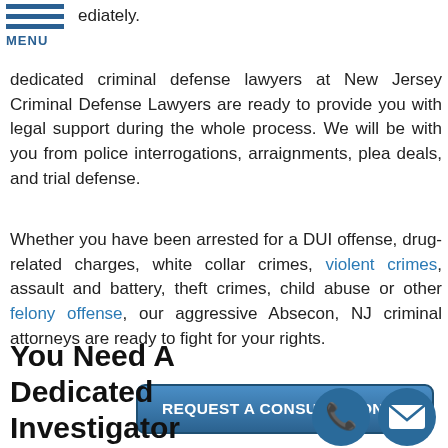MENU
ediately.
dedicated criminal defense lawyers at New Jersey Criminal Defense Lawyers are ready to provide you with legal support during the whole process. We will be with you from police interrogations, arraignments, plea deals, and trial defense.
Whether you have been arrested for a DUI offense, drug-related charges, white collar crimes, violent crimes, assault and battery, theft crimes, child abuse or other felony offense, our aggressive Absecon, NJ criminal attorneys are ready to fight for your rights.
[Figure (other): Blue rounded rectangle button with text REQUEST A CONSULTATION and a hand pointer icon]
You Need A Dedicated Investigator
[Figure (other): Two circular blue icons: phone and email/envelope]